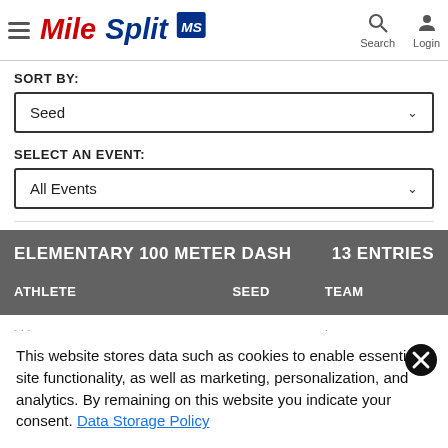MileSplit MS — Search | Login
SORT BY:
Seed
SELECT AN EVENT:
All Events
ELEMENTARY 100 METER DASH   13 ENTRIES
| ATHLETE | SEED | TEAM |
| --- | --- | --- |
This website stores data such as cookies to enable essential site functionality, as well as marketing, personalization, and analytics. By remaining on this website you indicate your consent. Data Storage Policy